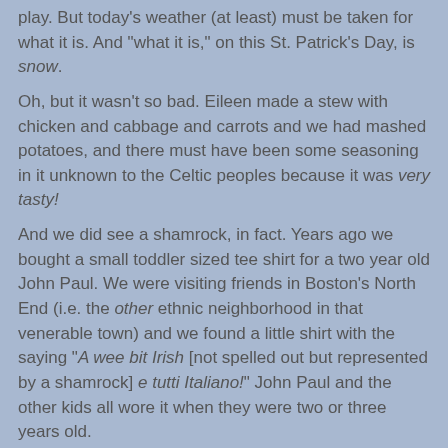play. But today's weather (at least) must be taken for what it is. And "what it is," on this St. Patrick's Day, is snow.
Oh, but it wasn't so bad. Eileen made a stew with chicken and cabbage and carrots and we had mashed potatoes, and there must have been some seasoning in it unknown to the Celtic peoples because it was very tasty!
And we did see a shamrock, in fact. Years ago we bought a small toddler sized tee shirt for a two year old John Paul. We were visiting friends in Boston's North End (i.e. the other ethnic neighborhood in that venerable town) and we found a little shirt with the saying "A wee bit Irish [not spelled out but represented by a shamrock] e tutti Italiano!" John Paul and the other kids all wore it when they were two or three years old.
Josefina is seven and a half. It still fits her:
[Figure (photo): A partial photograph showing the top of a child's head with light-colored hair, cropped at the bottom of the page.]